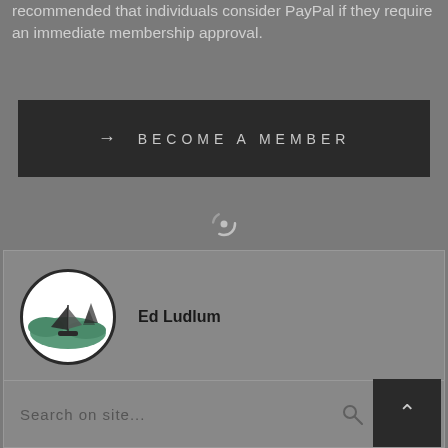recommended that individuals consider PayPal if they require an immediate membership approval.
[Figure (screenshot): Dark button with arrow and text: BECOME A MEMBER]
[Figure (other): Loading spinner icon]
Ed Ludlum
[Figure (logo): Circular logo with a sailboat on water with mountains, green and grey colors]
Search on site...